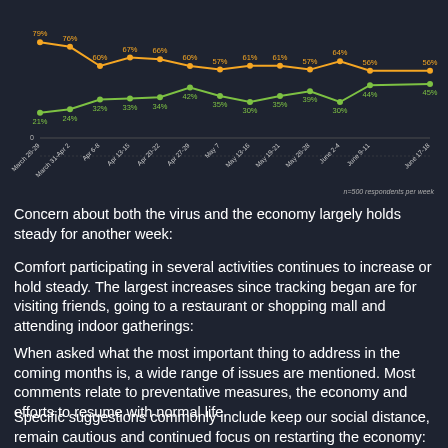[Figure (line-chart): ]
n=500 respondents per week
Concern about both the virus and the economy largely holds steady for another week:
Comfort participating in several activities continues to increase or hold steady. The largest increases since tracking began are for visiting friends, going to a restaurant or shopping mall and attending indoor gatherings:
When asked what the most important thing to address in the coming months is, a wide range of issues are mentioned. Most comments relate to preventative measures, the economy and efforts to resume with normal life.
Specific suggestions commonly include keep our social distance, remain cautious and continued focus on restarting the economy: